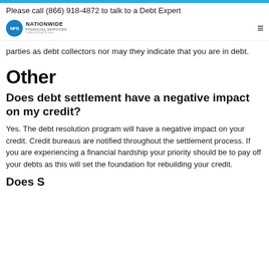Please call (866) 918-4872 to talk to a Debt Expert
parties as debt collectors nor may they indicate that you are in debt.
Other
Does debt settlement have a negative impact on my credit?
Yes. The debt resolution program will have a negative impact on your credit. Credit bureaus are notified throughout the settlement process. If you are experiencing a financial hardship your priority should be to pay off your debts as this will set the foundation for rebuilding your credit.
Does settlement hurt my credit?